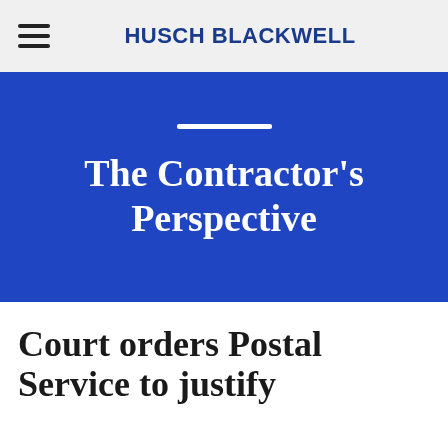HUSCH BLACKWELL
[Figure (logo): Husch Blackwell law firm logo with hamburger menu icon on left and 'HUSCH BLACKWELL' text in dark blue on right, on a light gray background]
The Contractor's Perspective
Court orders Postal Service to justify